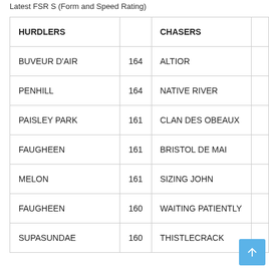Latest FSR S (Form and Speed Rating)
| HURDLERS |  | CHASERS |  |
| --- | --- | --- | --- |
| BUVEUR D'AIR | 164 | ALTIOR |  |
| PENHILL | 164 | NATIVE RIVER |  |
| PAISLEY PARK | 161 | CLAN DES OBEAUX |  |
| FAUGHEEN | 161 | BRISTOL DE MAI |  |
| MELON | 161 | SIZING JOHN |  |
| FAUGHEEN | 160 | WAITING PATIENTLY |  |
| SUPASUNDAE | 160 | THISTLECRACK |  |